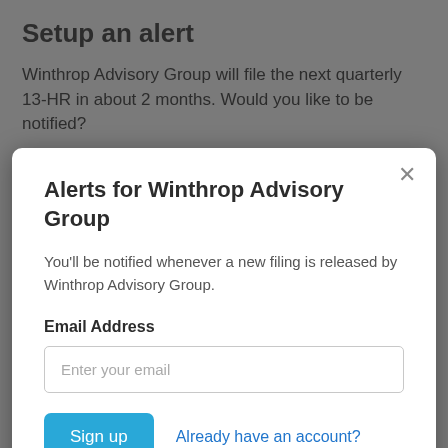Setup an alert
Winthrop Advisory Group will file the next quarterly 13-HR in about 2 months. Would you like to be notified?
Email Address
Alerts for Winthrop Advisory Group
You'll be notified whenever a new filing is released by Winthrop Advisory Group.
Email Address
Enter your email
Sign up
Already have an account?